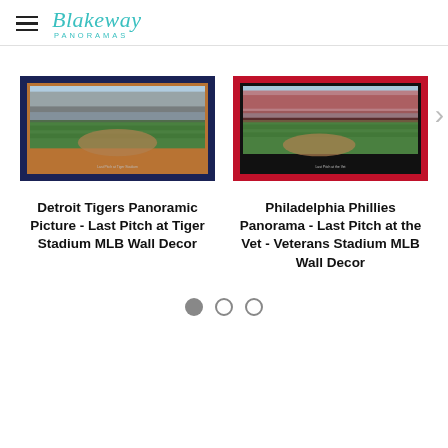Blakeway Panoramas
[Figure (photo): Detroit Tigers Panoramic Picture - Last Pitch at Tiger Stadium framed panoramic photo with dark navy blue frame and copper/bronze inner mat]
Detroit Tigers Panoramic Picture - Last Pitch at Tiger Stadium MLB Wall Decor
[Figure (photo): Philadelphia Phillies Panorama - Last Pitch at the Vet - Veterans Stadium framed panoramic photo with red frame and dark inner border]
Philadelphia Phillies Panorama - Last Pitch at the Vet - Veterans Stadium MLB Wall Decor